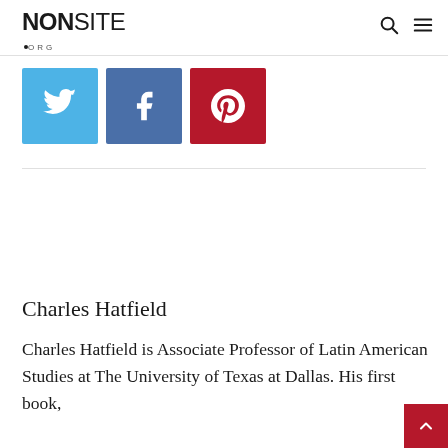NONSITE.ORG
[Figure (logo): Nonsite.org logo with search and hamburger menu icons]
[Figure (infographic): Social sharing buttons: Twitter (blue), Facebook (dark blue), Pinterest (dark red)]
Charles Hatfield
Charles Hatfield is Associate Professor of Latin American Studies at The University of Texas at Dallas. His first book,